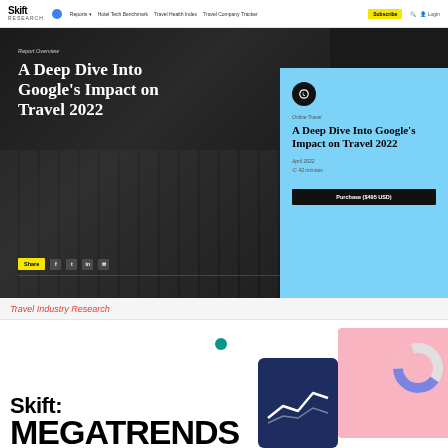Skift Research | Reports | Hotel Tech Benchmark | Travel Health Index | Travel Company Tracker | Subscribe | Login
[Figure (screenshot): Hero banner with dark background showing hands on laptop keyboard, white bold serif title 'A Deep Dive Into Google's Impact on Travel 2022', share button and social icons, and a light blue card overlay on right with report details and Purchase ($495 USD) button]
Report Overview
A Deep Dive Into Google's Impact on Travel 2022
Online Travel
A Deep Dive Into Google's Impact on Travel 2022
April 2022
42 minutes
Purchase ($495 USD)
Travel Industry Research
[Figure (illustration): Skift Megatrends promo section with large bold text 'Skift MEGATRENDS', teal dot accent, dark blue phone/chart illustration, and pink card with donut chart fragment in bottom right area]